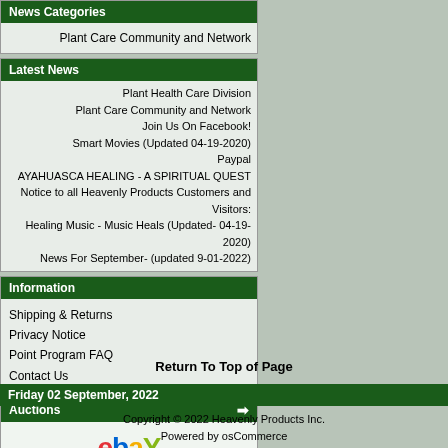News Categories
Plant Care Community and Network
Latest News
Plant Health Care Division
Plant Care Community and Network
Join Us On Facebook!
Smart Movies (Updated 04-19-2020)
Paypal
AYAHUASCA HEALING - A SPIRITUAL QUEST
Notice to all Heavenly Products Customers and Visitors:
Healing Music - Music Heals (Updated- 04-19-2020)
News For September- (updated 9-01-2022)
Information
Shipping & Returns
Privacy Notice
Point Program FAQ
Contact Us
Auctions
[Figure (logo): eBay logo with colorful letters: e in red, b in blue, a in yellow, y in green]
Return To Top of Page
Friday 02 September, 2022
Copyright © 2022 Heavenly Products Inc.
Powered by osCommerce